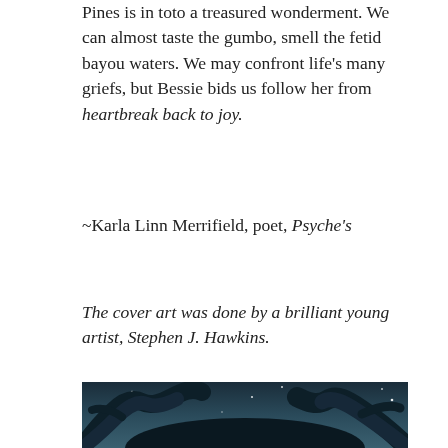Pines is in toto a treasured wonderment. We can almost taste the gumbo, smell the fetid bayou waters. We may confront life's many griefs, but Bessie bids us follow her from heartbreak back to joy.
~Karla Linn Merrifield, poet, Psyche's
The cover art was done by a brilliant young artist, Stephen J. Hawkins.
[Figure (illustration): Dark illustrated artwork showing gnarled, twisting trees against a deep blue-grey night sky with stars scattered throughout. The trees have thick, swirling branches rendered in a detailed painterly style.]